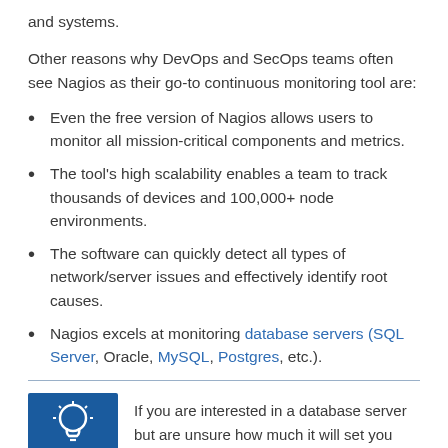and systems.
Other reasons why DevOps and SecOps teams often see Nagios as their go-to continuous monitoring tool are:
Even the free version of Nagios allows users to monitor all mission-critical components and metrics.
The tool's high scalability enables a team to track thousands of devices and 100,000+ node environments.
The software can quickly detect all types of network/server issues and effectively identify root causes.
Nagios excels at monitoring database servers (SQL Server, Oracle, MySQL, Postgres, etc.).
If you are interested in a database server but are unsure how much it will set you